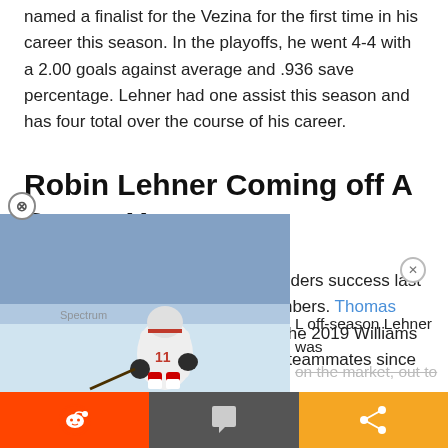named a finalist for the Vezina for the first time in his career this season. In the playoffs, he went 4-4 with a 2.00 goals against average and .936 save percentage. Lehner had one assist this season and has four total over the course of his career.
Robin Lehner Coming off A Career Year
Lehner was a huge part of the Islanders success last season while putting up career numbers. Thomas Greiss and Lehner ended winning the 2019 Williams Jennings Award becoming the first teammates since
[Figure (photo): Hockey player in white jersey skating on ice rink]
L off-season Lehner was on the market, out to
[Figure (infographic): Social media share bar with Reddit (orange), comment (dark grey), and share (orange) buttons]